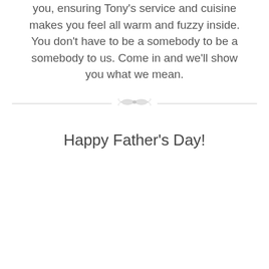you, ensuring Tony's service and cuisine makes you feel all warm and fuzzy inside. You don't have to be a somebody to be a somebody to us. Come in and we'll show you what we mean.
[Figure (illustration): Decorative divider with ornamental flourish and horizontal lines on either side]
Happy Father's Day!